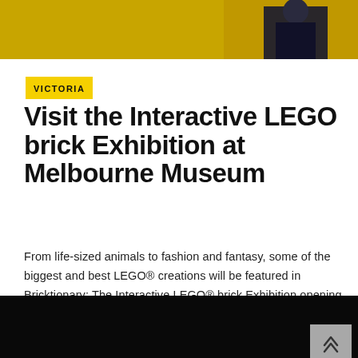[Figure (photo): Top portion of a photo with yellow/gold background and a person in dark clothing visible at the bottom right]
VICTORIA
Visit the Interactive LEGO brick Exhibition at Melbourne Museum
From life-sized animals to fashion and fantasy, some of the biggest and best LEGO® creations will be featured in Bricktionary: The Interactive LEGO® brick Exhibition opening at Melbourne Museum from Saturday...
[Figure (photo): Dark/black image at bottom of page, part of another article preview]